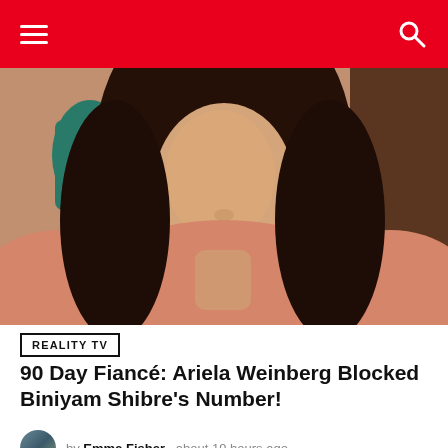Navigation header with hamburger menu and search icon
[Figure (photo): Young woman with long brown hair wearing a salmon/peach top, seated indoors with a teal vase in the background]
REALITY TV
90 Day Fiancé: Ariela Weinberg Blocked Biniyam Shibre's Number!
by Emma Fisher   about 19 hours ago
[Figure (photo): Two people seated side by side: a man with glasses on the left and a woman with dark hair on the right, indoor setting with bookshelves]